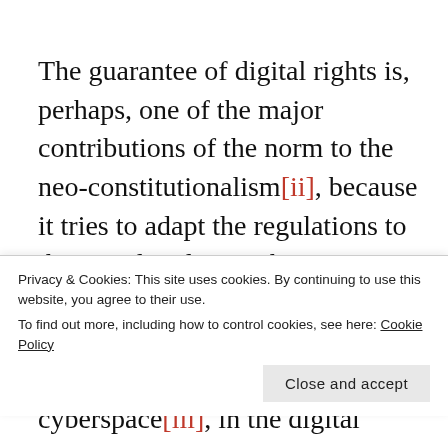The guarantee of digital rights is, perhaps, one of the major contributions of the norm to the neo-constitutionalism[ii], because it tries to adapt the regulations to the social reality so that our constitutional scope does not reiterate the common practice of applying analogy in the field of cyberspace[iii], in the digital environment
Privacy & Cookies: This site uses cookies. By continuing to use this website, you agree to their use. To find out more, including how to control cookies, see here: Cookie Policy
Close and accept